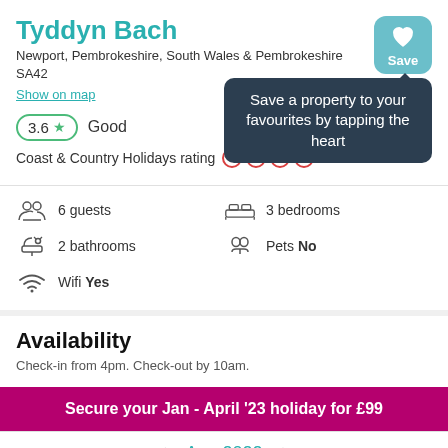Tyddyn Bach
Newport, Pembrokeshire, South Wales & Pembrokeshire SA42
Show on map
3.6 ★  Good
Coast & Country Holidays rating ✓✓✓✓
Save a property to your favourites by tapping the heart
6 guests
3 bedrooms
2 bathrooms
Pets No
Wifi Yes
Availability
Check-in from 4pm. Check-out by 10am.
Secure your Jan - April '23 holiday for £99
Aug 2022